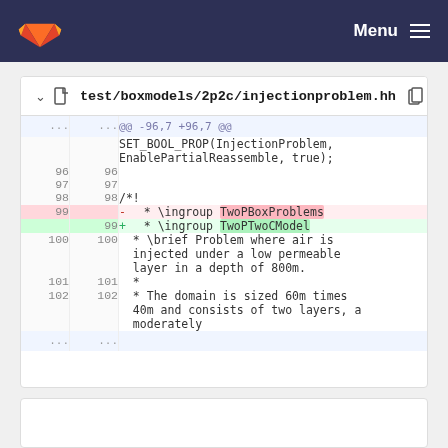Menu (GitLab navigation bar)
test/boxmodels/2p2c/injectionproblem.hh
@@ -96,7 +96,7 @@
SET_BOOL_PROP(InjectionProblem,
EnablePartialReassemble, true);
96  96
97  97
98  98  /*!
99      -  * \ingroup TwoPBoxProblems
    99  +  * \ingroup TwoPTwoCModel
100 100  * \brief Problem where air is
         injected under a low permeable
         layer in a depth of 800m.
101 101  *
102 102  * The domain is sized 60m times
         40m and consists of two layers, a
         moderately
...  ...